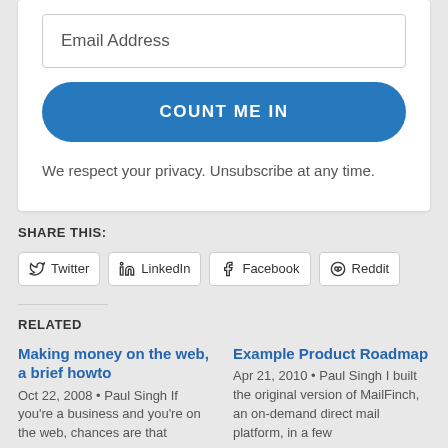[Figure (other): Email subscription form with an email address input field, a 'COUNT ME IN' blue button, and privacy notice text]
We respect your privacy. Unsubscribe at any time.
SHARE THIS:
[Figure (other): Social share buttons: Twitter, LinkedIn, Facebook, Reddit]
RELATED
Making money on the web, a brief howto
Oct 22, 2008 • Paul Singh If you're a business and you're on the web, chances are that
Example Product Roadmap
Apr 21, 2010 • Paul Singh I built the original version of MailFinch, an on-demand direct mail platform, in a few